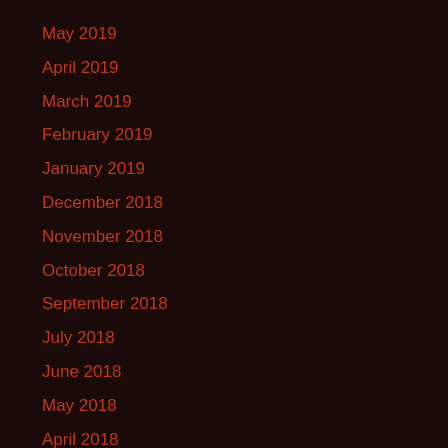May 2019
April 2019
March 2019
February 2019
January 2019
December 2018
November 2018
October 2018
September 2018
July 2018
June 2018
May 2018
April 2018
March 2018
February 2018